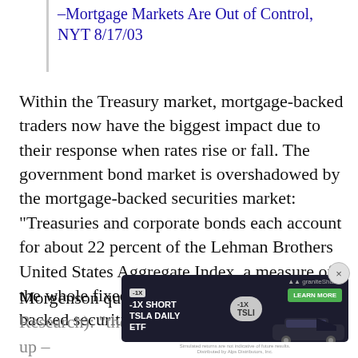–Mortgage Markets Are Out of Control, NYT 8/17/03
Within the Treasury market, mortgage-backed traders now have the biggest impact due to their response when rates rise or fall. The government bond market is overshadowed by the mortgage-backed securities market: “Treasuries and corporate bonds each account for about 22 percent of the Lehman Brothers United States Aggregate Index, a measure of the whole fixed-income market; mortgage-backed securities make up almost 35 percent.”
Morgenson quotes Jim Bianco (of Bianco Research): “the last time interest rates moved up – ... back ... er and more manageable. Back in 1996, the
[Figure (other): Advertisement overlay: -1X SHORT TSLA DAILY ETF with -1X badge and TSLI pill, car image, LEARN MORE button, close X button]